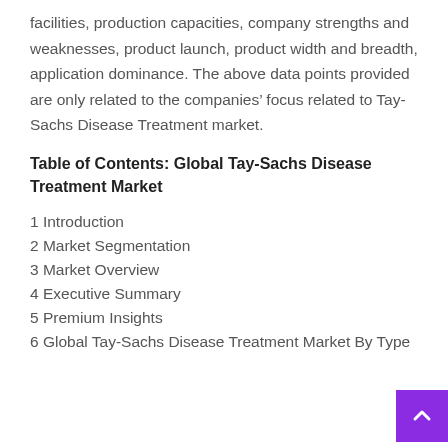facilities, production capacities, company strengths and weaknesses, product launch, product width and breadth, application dominance. The above data points provided are only related to the companies' focus related to Tay-Sachs Disease Treatment market.
Table of Contents: Global Tay-Sachs Disease Treatment Market
1 Introduction
2 Market Segmentation
3 Market Overview
4 Executive Summary
5 Premium Insights
6 Global Tay-Sachs Disease Treatment Market By Type